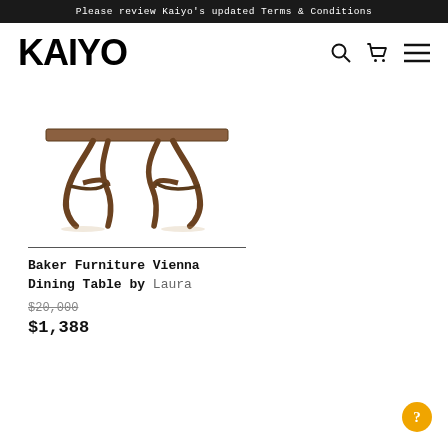Please review Kaiyo's updated Terms & Conditions
KAIYO
[Figure (photo): Baker Furniture Vienna Dining Table product photo — a rectangular wooden dining table with ornate curved metal legs in a dark bronze/brown finish, photographed on a white background.]
Baker Furniture Vienna Dining Table by Laura
$20,000
$1,388